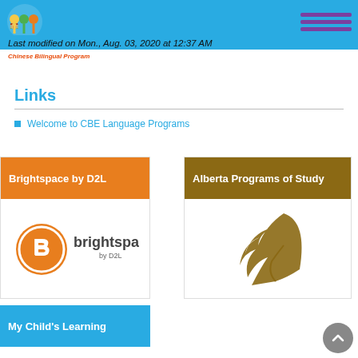Highlighted School - Chinese Bilingual Program
Last modified on Mon., Aug. 03, 2020 at 12:37 AM
Links
Welcome to CBE Language Programs
[Figure (logo): Brightspace by D2L card with orange header and Brightspace logo]
[Figure (logo): Alberta Programs of Study card with brown header and feather/quill logo]
[Figure (other): My Child's Learning card with cyan/blue header]